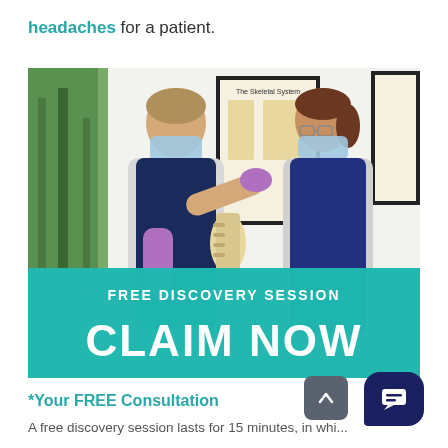headaches for a patient.
[Figure (photo): Two healthcare professionals wearing masks and aprons; one is holding a spine model and pointing at it while explaining to the other. A 'The Skeletal System' poster is visible on the wall behind them. A teal banner overlay reads 'FREE DISCOVERY SESSION' and 'CLAIM NOW'.]
*Your FREE Consultation
A free discovery session lasts for 15 minutes, in whi...